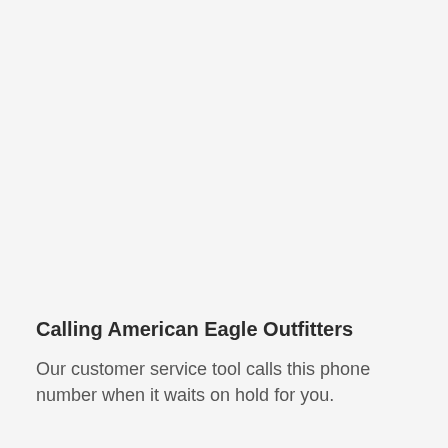Calling American Eagle Outfitters
Our customer service tool calls this phone number when it waits on hold for you.